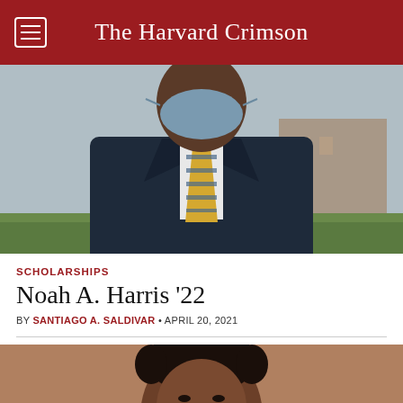The Harvard Crimson
[Figure (photo): A person wearing a blue face mask, dressed in a dark navy suit with a yellow and grey striped tie and white dress shirt, photographed outdoors with green grass and a brick building in the background.]
SCHOLARSHIPS
Noah A. Harris '22
BY SANTIAGO A. SALDIVAR • APRIL 20, 2021
[Figure (photo): A portrait of a Black woman with short natural hair and hoop earrings, smiling, photographed against a warm brown background.]